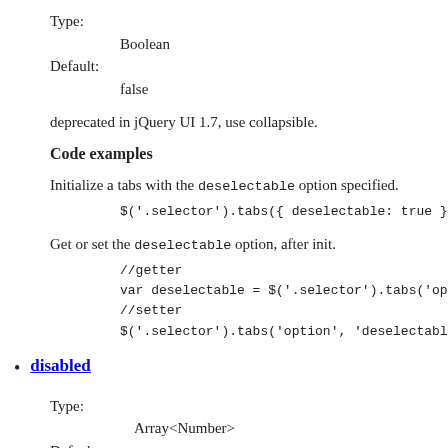Type:
    Boolean
Default:
    false
deprecated in jQuery UI 1.7, use collapsible.
Code examples
Initialize a tabs with the deselectable option specified.
$('.selector').tabs({ deselectable: true });
Get or set the deselectable option, after init.
//getter
var deselectable = $('.selector').tabs('option
//setter
$('.selector').tabs('option', 'deselectable',
disabled
Type:
    Array<Number>
Default:
    []